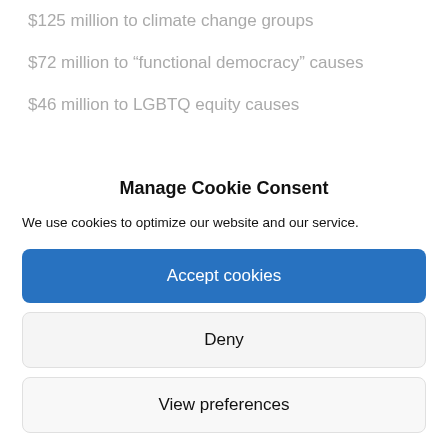$125 million to climate change groups
$72 million to “functional democracy” causes
$46 million to LGBTQ equity causes
Manage Cookie Consent
We use cookies to optimize our website and our service.
Accept cookies
Deny
View preferences